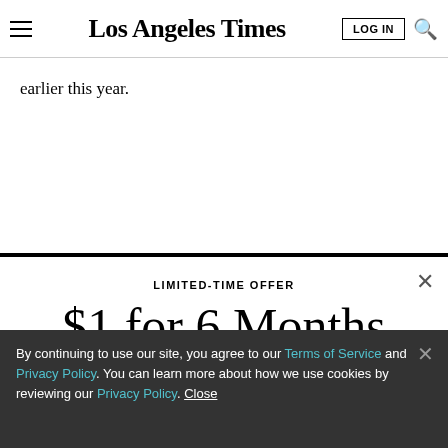Los Angeles Times
earlier this year.
LIMITED-TIME OFFER
$1 for 6 Months
SUBSCRIBE NOW
By continuing to use our site, you agree to our Terms of Service and Privacy Policy. You can learn more about how we use cookies by reviewing our Privacy Policy. Close